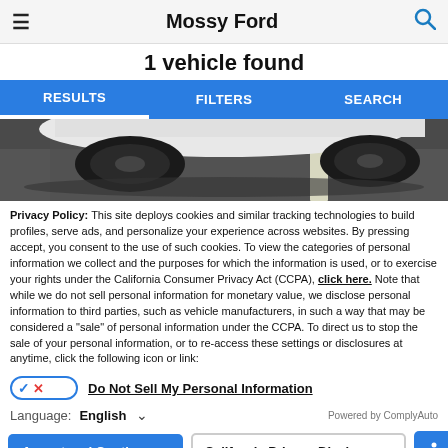Mossy Ford
1 vehicle found
RESULTS   FILTERS   SEARCH
[Figure (photo): Partial view of a white car on a parking lot asphalt surface with a white painted line visible]
Privacy Policy: This site deploys cookies and similar tracking technologies to build profiles, serve ads, and personalize your experience across websites. By pressing accept, you consent to the use of such cookies. To view the categories of personal information we collect and the purposes for which the information is used, or to exercise your rights under the California Consumer Privacy Act (CCPA), click here. Note that while we do not sell personal information for monetary value, we disclose personal information to third parties, such as vehicle manufacturers, in such a way that may be considered a "sale" of personal information under the CCPA. To direct us to stop the sale of your personal information, or to re-access these settings or disclosures at anytime, click the following icon or link:
Do Not Sell My Personal Information
Language:   English
Accept and Continue →   California Privacy Disclosures